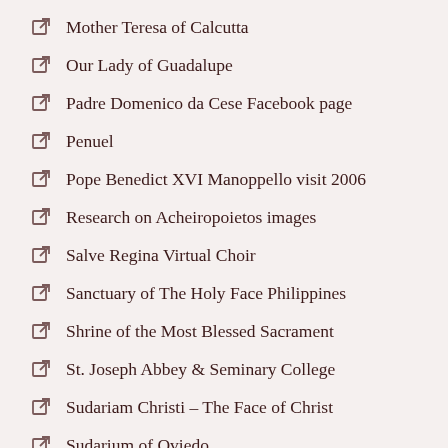Mother Teresa of Calcutta
Our Lady of Guadalupe
Padre Domenico da Cese Facebook page
Penuel
Pope Benedict XVI Manoppello visit 2006
Research on Acheiropoietos images
Salve Regina Virtual Choir
Sanctuary of The Holy Face Philippines
Shrine of the Most Blessed Sacrament
St. Joseph Abbey & Seminary College
Sudariam Christi – The Face of Christ
Sudarium of Oviedo
The Divine Mercy Message
The Face of God – The Rediscovery of the True